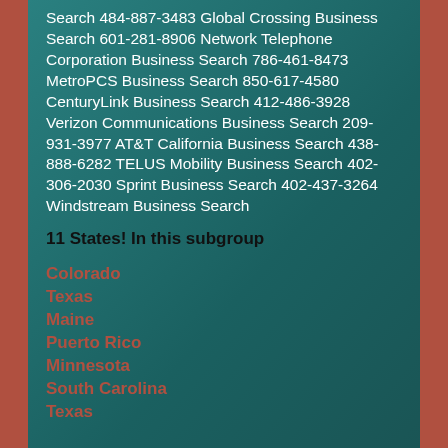Search 484-887-3483 Global Crossing Business Search 601-281-8906 Network Telephone Corporation Business Search 786-461-8473 MetroPCS Business Search 850-617-4580 CenturyLink Business Search 412-486-3928 Verizon Communications Business Search 209-931-3977 AT&T California Business Search 438-888-6282 TELUS Mobility Business Search 402-306-2030 Sprint Business Search 402-437-3264 Windstream Business Search
11 States! In this subgroup
Colorado
Texas
Maine
Puerto Rico
Minnesota
South Carolina
Texas